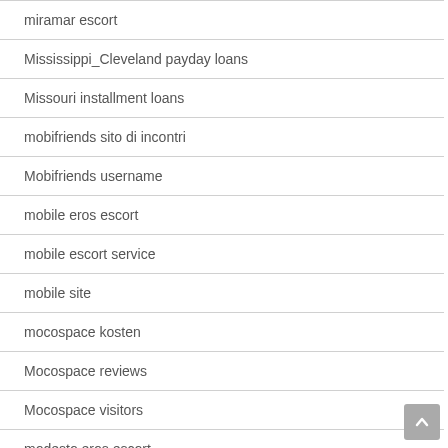miramar escort
Mississippi_Cleveland payday loans
Missouri installment loans
mobifriends sito di incontri
Mobifriends username
mobile eros escort
mobile escort service
mobile site
mocospace kosten
Mocospace reviews
Mocospace visitors
modesto eros escort